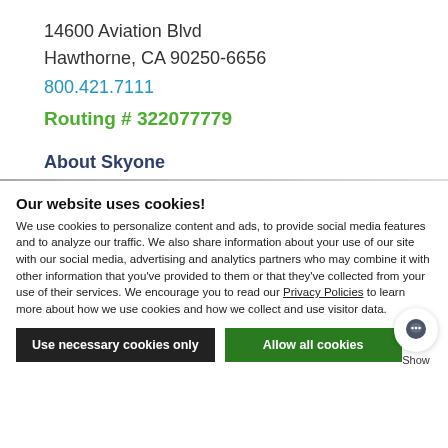14600 Aviation Blvd
Hawthorne, CA 90250-6656
800.421.7111
Routing # 322077779
About Skyone
Our website uses cookies!
We use cookies to personalize content and ads, to provide social media features and to analyze our traffic. We also share information about your use of our site with our social media, advertising and analytics partners who may combine it with other information that you've provided to them or that they've collected from your use of their services. We encourage you to read our Privacy Policies to learn more about how we use cookies and how we collect and use visitor data.
Use necessary cookies only
Allow all cookies
Show